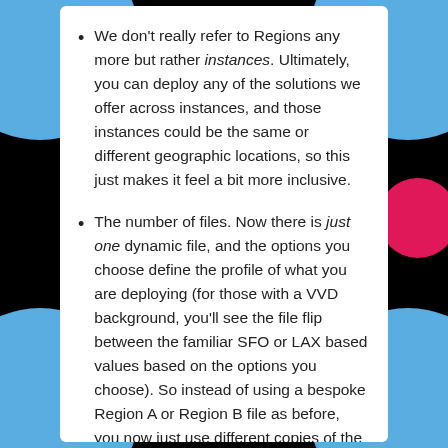We don't really refer to Regions any more but rather instances. Ultimately, you can deploy any of the solutions we offer across instances, and those instances could be the same or different geographic locations, so this just makes it feel a bit more inclusive.
The number of files. Now there is just one dynamic file, and the options you choose define the profile of what you are deploying (for those with a VVD background, you'll see the file flip between the familiar SFO or LAX based values based on the options you choose). So instead of using a bespoke Region A or Region B file as before, you now just use different copies of the same file – one for each instance of VCF you want to deploy.